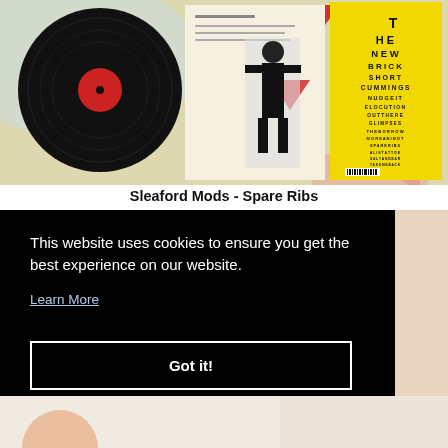[Figure (photo): Album artwork photo showing Sleaford Mods - Spare Ribs vinyl record with a black vinyl disc on the left and yellow album cover on the right showing eye chart style tracklist]
Sleaford Mods - Spare Ribs
This website uses cookies to ensure you get the best experience on our website.
Learn More
Got it!